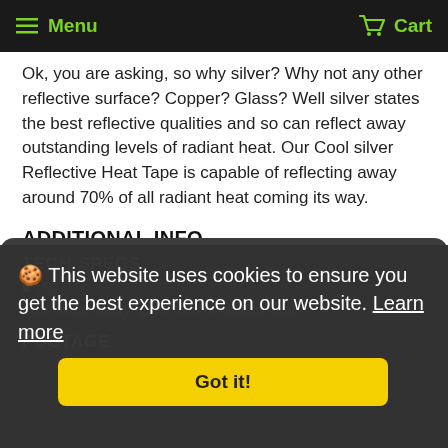Menu  Cart
Ok, you are asking, so why silver? Why not any other reflective surface? Copper? Glass? Well silver states the best reflective qualities and so can reflect away outstanding levels of radiant heat. Our Cool silver Reflective Heat Tape is capable of reflecting away around 70% of all radiant heat coming its way.
ADDITIONAL INFO
Weight: 0.35 kg
TECH SPECS
Can reflect away up to 70% of radiant heat.
POSTAGE
This website uses cookies to ensure you get the best experience on our website. Learn more
Got it!